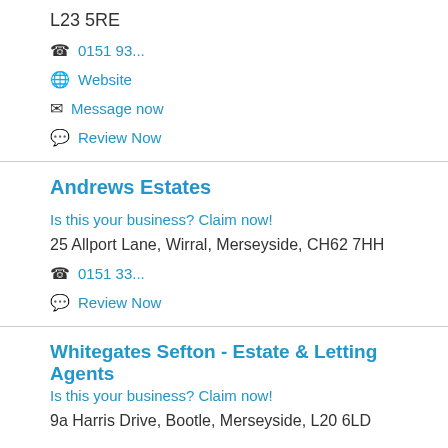L23 5RE
📞 0151 93...
🌐 Website
✉ Message now
💬 Review Now
Andrews Estates   Is this your business? Claim now!
25 Allport Lane, Wirral, Merseyside, CH62 7HH
📞 0151 33...
💬 Review Now
Whitegates Sefton - Estate & Letting Agents
Is this your business? Claim now!
9a Harris Drive, Bootle, Merseyside, L20 6LD